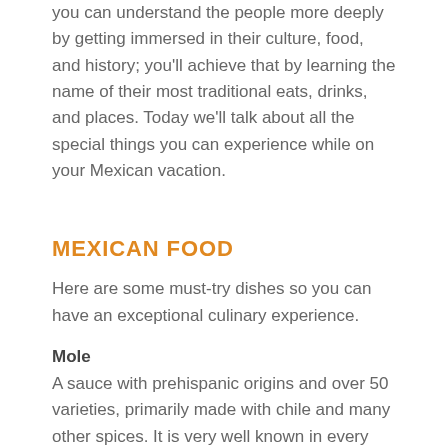you can understand the people more deeply by getting immersed in their culture, food, and history; you'll achieve that by learning the name of their most traditional eats, drinks, and places. Today we'll talk about all the special things you can experience while on your Mexican vacation.
MEXICAN FOOD
Here are some must-try dishes so you can have an exceptional culinary experience.
Mole
A sauce with prehispanic origins and over 50 varieties, primarily made with chile and many other spices. It is very well known in every